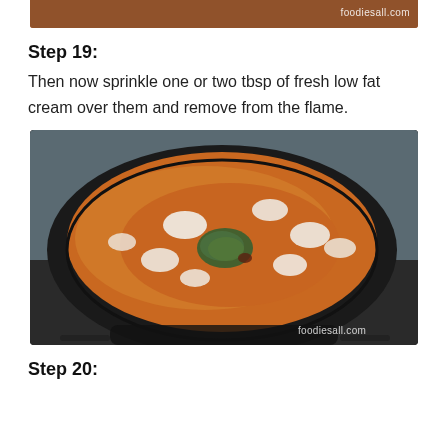[Figure (photo): Top strip of a food photo showing orange curry dish, with foodiesall.com watermark]
Step 19:
Then now sprinkle one or two tbsp of fresh low fat cream over them and remove from the flame.
[Figure (photo): A black frying pan on a stove containing orange curry with dollops of white cream and green herb garnish in center, watermark foodiesall.com]
Step 20: